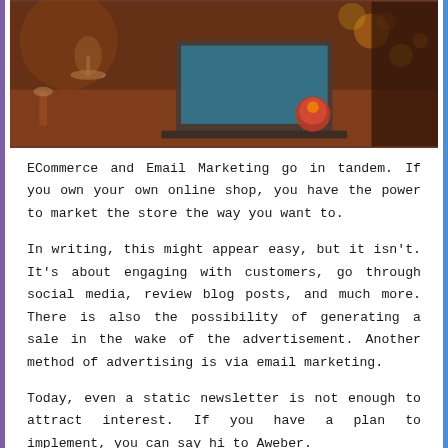[Figure (photo): A dimly lit scene showing a laptop on a table with a red candle/light, wine glasses, and bokeh lights in the background. Warm orange and brown tones.]
ECommerce and Email Marketing go in tandem. If you own your own online shop, you have the power to market the store the way you want to.
In writing, this might appear easy, but it isn't. It's about engaging with customers, go through social media, review blog posts, and much more. There is also the possibility of generating a sale in the wake of the advertisement. Another method of advertising is via email marketing.
Today, even a static newsletter is not enough to attract interest. If you have a plan to implement, you can say hi to Aweber.
This review will talk about Aweber, how the email marketing